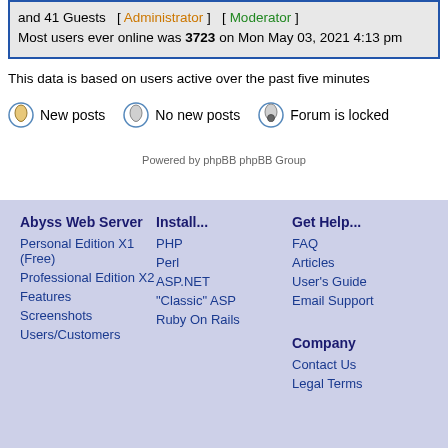and 41 Guests  [ Administrator ]  [ Moderator ]
Most users ever online was 3723 on Mon May 03, 2021 4:13 pm
This data is based on users active over the past five minutes
New posts   No new posts   Forum is locked
Powered by phpBB phpBB Group
Abyss Web Server
Personal Edition X1 (Free)
Professional Edition X2
Features
Screenshots
Users/Customers
Install...
PHP
Perl
ASP.NET
"Classic" ASP
Ruby On Rails
Get Help...
FAQ
Articles
User's Guide
Email Support
Company
Contact Us
Legal Terms